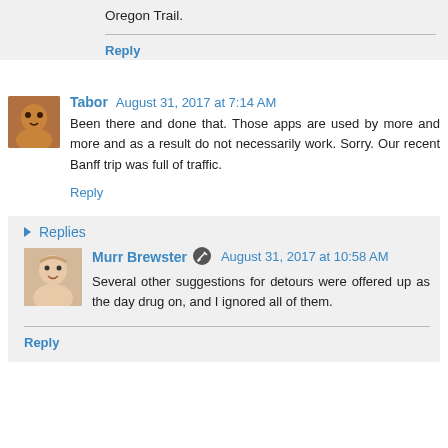Oregon Trail.
Reply
Tabor  August 31, 2017 at 7:14 AM
Been there and done that. Those apps are used by more and more and as a result do not necessarily work. Sorry. Our recent Banff trip was full of traffic.
Reply
▸ Replies
Murr Brewster  August 31, 2017 at 10:58 AM
Several other suggestions for detours were offered up as the day drug on, and I ignored all of them.
Reply